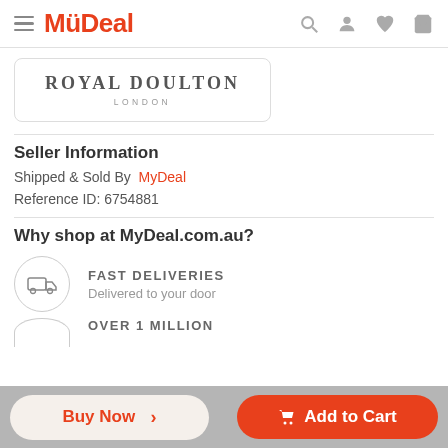MyDeal
[Figure (logo): Royal Doulton London brand logo in a rounded rectangle box]
Seller Information
Shipped & Sold By  MyDeal
Reference ID: 6754881
Why shop at MyDeal.com.au?
FAST DELIVERIES
Delivered to your door
OVER 1 MILLION
Buy Now >
Add to Cart